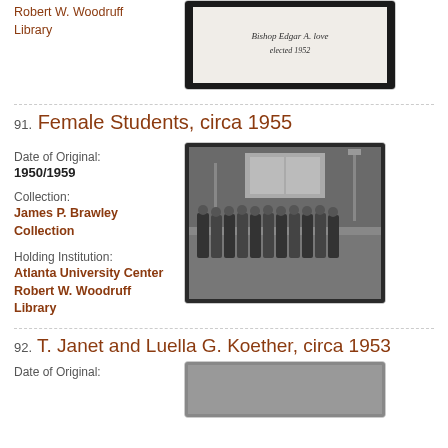Robert W. Woodruff Library
[Figure (photo): Handwritten note reading 'Bishop Edgar A. Love elected 1952' on white background]
91. Female Students, circa 1955
Date of Original:
1950/1959
Collection:
James P. Brawley Collection
[Figure (photo): Black and white photograph of a group of female students standing in a row in front of a brick building]
Holding Institution:
Atlanta University Center Robert W. Woodruff Library
92. T. Janet and Luella G. Koether, circa 1953
Date of Original: